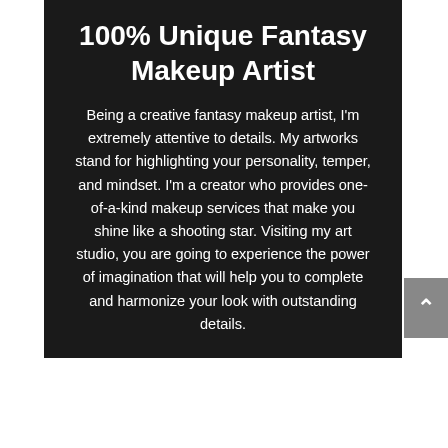100% Unique Fantasy Makeup Artist
Being a creative fantasy makeup artist, I'm extremely attentive to details. My artworks stand for highlighting your personality, temper, and mindset. I'm a creator who provides one-of-a-kind makeup services that make you shine like a shooting star. Visiting my art studio, you are going to experience the power of imagination that will help you to complete and harmonize your look with outstanding details.